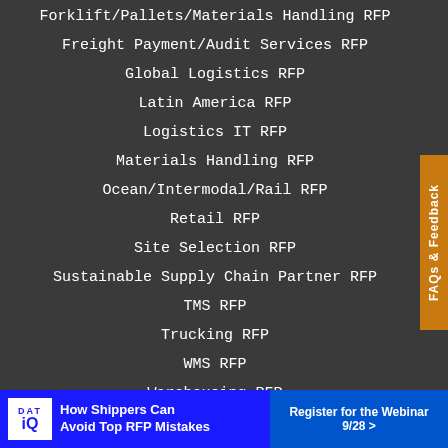Forklift/Pallets/Materials Handling RFP
Freight Payment/Audit Services RFP
Global Logistics RFP
Latin America RFP
Logistics IT RFP
Materials Handling RFP
Ocean/Intermodal/Rail RFP
Retail RFP
Site Selection RFP
Sustainable Supply Chain Partner RFP
TMS RFP
Trucking RFP
WMS RFP
Warehousing RFP
Find Solutions
Find a 3PL/Warehouse
[Figure (infographic): DAT iQ advertisement banner: blue background with DAT iQ logo on left, text 'How Shippers Can Avoid Top RFP Mistakes' in white, and orange button 'Register for the Webinar 9/28 >']